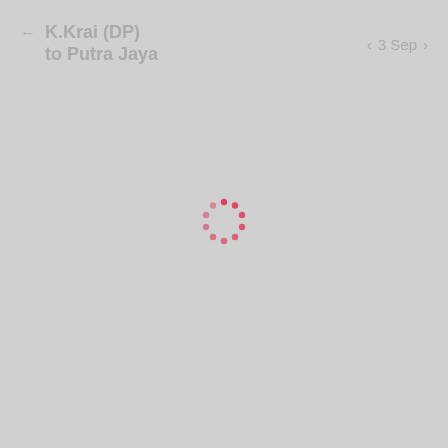← K.Krai (DP) to Putra Jaya    < 3 Sep >
[Figure (other): Loading spinner: a circle of red dashed/dotted segments indicating content is loading, centered on a gray background]